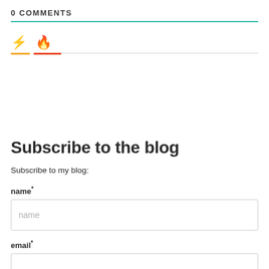0 COMMENTS
[Figure (infographic): Two icon tabs: a yellow lightning bolt and a red/orange flame icon, with colored underlines beneath each tab and a gray line spanning the rest of the row.]
Subscribe to the blog
Subscribe to my blog:
name*
email*